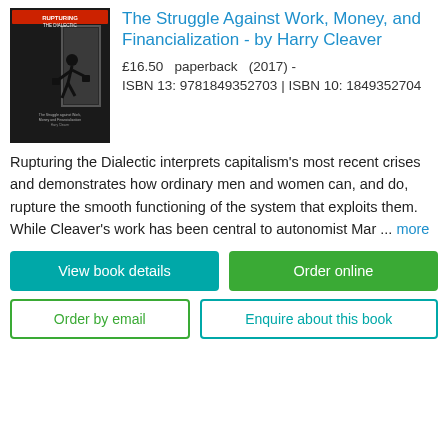[Figure (illustration): Book cover of 'Rupturing the Dialectic: The Struggle Against Work, Money, and Financialization' showing a dark background with a stick figure person carrying briefcases walking through a door.]
The Struggle Against Work, Money, and Financialization - by Harry Cleaver
£16.50   paperback   (2017) - ISBN 13: 9781849352703 | ISBN 10: 1849352704
Rupturing the Dialectic interprets capitalism's most recent crises and demonstrates how ordinary men and women can, and do, rupture the smooth functioning of the system that exploits them.  While Cleaver's work has been central to autonomist Mar ... more